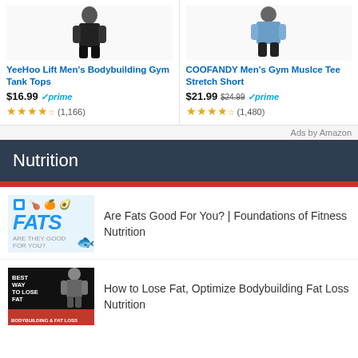[Figure (screenshot): Amazon ad: YeeHoo Lift Men's Bodybuilding Gym Tank Tops, $16.99, Prime, 4 stars, (1,166) reviews]
[Figure (screenshot): Amazon ad: COOFANDY Men's Gym Muslce Tee Stretch Short, $21.99 (orig $24.99), Prime, 4 stars, (1,480) reviews]
Ads by Amazon
Nutrition
[Figure (screenshot): Thumbnail for 'Are Fats Good For You? | Foundations of Fitness Nutrition' video with FATS text]
Are Fats Good For You? | Foundations of Fitness Nutrition
[Figure (screenshot): Thumbnail for 'How to Lose Fat, Optimize Bodybuilding Fat Loss Nutrition' showing bodybuilder]
How to Lose Fat, Optimize Bodybuilding Fat Loss Nutrition